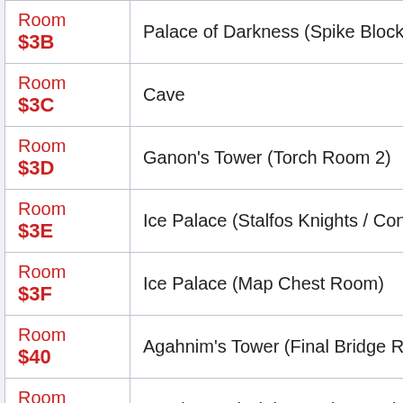| Room Code | Room Name |
| --- | --- |
| Room $3B | Palace of Darkness (Spike Block / Conveyor Room) |
| Room $3C | Cave |
| Room $3D | Ganon's Tower (Torch Room 2) |
| Room $3E | Ice Palace (Stalfos Knights / Conveyor Hellway) |
| Room $3F | Ice Palace (Map Chest Room) |
| Room $40 | Agahnim's Tower (Final Bridge Room) |
| Room $41 | Hyrule Castle (First Dark Room) |
| Room $42 | Hyrule Castle (6 Ropes Room) |
| Room ... | Desert Palace (Torch Puzzle / ...) |